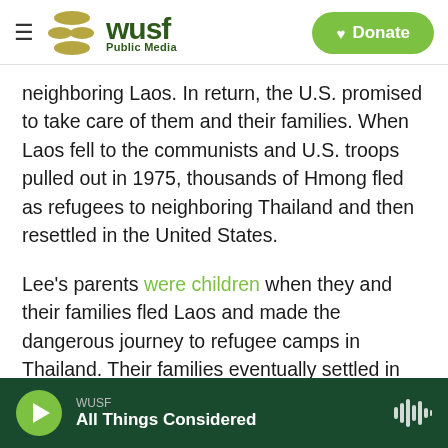WUSF Public Media | Donate
neighboring Laos. In return, the U.S. promised to take care of them and their families. When Laos fell to the communists and U.S. troops pulled out in 1975, thousands of Hmong fled as refugees to neighboring Thailand and then resettled in the United States.
Lee's parents were children when they and their families fled Laos and made the dangerous journey to refugee camps in Thailand. Their families eventually settled in Minnesota and found a home among thousands of other Hmong who had come to the U.S. via a similar path.
WUSF | All Things Considered